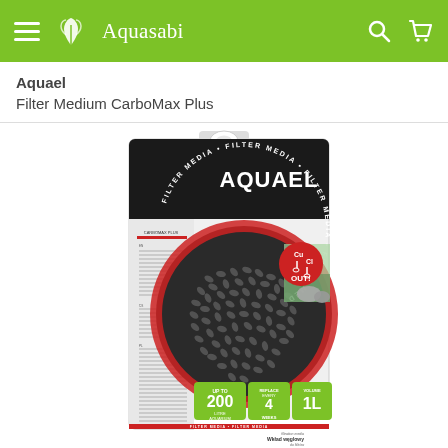Aquasabi
Aquael
Filter Medium CarboMax Plus
[Figure (photo): Product photo of Aquael Filter Medium CarboMax Plus box. The box is black with a circular window showing dark carbon pellets. Labels show: AQUAEL logo, CARBOMAX PLUS, FILTER MEDIA circular text, Cu Cl OUT! badge, UP TO 200 LITRE AQUARIUM, REPLACE EVERY 4 WEEKS, VOLUME 1L, Carbon filtration media, Wklad weglowy do filtrow, Filterkohle.]